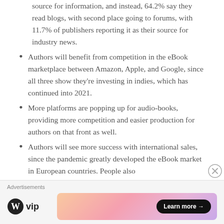source for information, and instead, 64.2% say they read blogs, with second place going to forums, with 11.7% of publishers reporting it as their source for industry news.
Authors will benefit from competition in the eBook marketplace between Amazon, Apple, and Google, since all three show they're investing in indies, which has continued into 2021.
More platforms are popping up for audio-books, providing more competition and easier production for authors on that front as well.
Authors will see more success with international sales, since the pandemic greatly developed the eBook market in European countries. People also
Advertisements